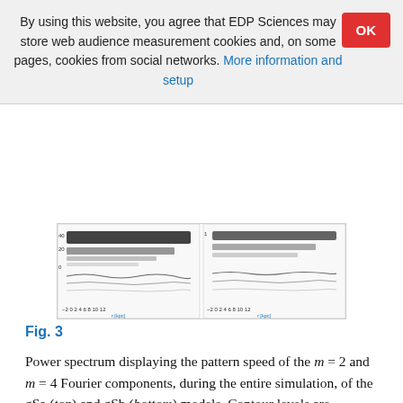By using this website, you agree that EDP Sciences may store web audience measurement cookies and, on some pages, cookies from social networks. More information and setup
[Figure (other): Power spectrum plots showing pattern speed of m=2 and m=4 Fourier components for gSa and gSb galaxy models]
Fig. 3
Power spectrum displaying the pattern speed of the m = 2 and m = 4 Fourier components, during the entire simulation, of the gSa (top) and gSb (bottom) models. Contour levels are indicated for each panel. Note that the gSa bar evolves (slows down and extends) much more and its two-armed SS is twice as strong as for the gSb model (top left). Despite the slightly stronger gSb bar, the effect on ΔL in the gSa's outer disk is much